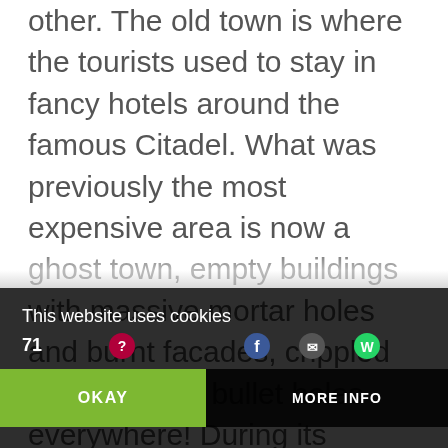other. The old town is where the tourists used to stay in fancy hotels around the famous Citadel. What was previously the most expensive area is now a ghost town, empty buildings with massive mortar holes and burnt facades, crippled with so many bullet holes everywhere! During its occupation, ISIS and other rebel factions such as Al Nusra had taken some parts of the old town and were constantly fighting and shelling the treasures of humanity around the old town. The famous old Turkish Bath (Hammam Yalbougha al-Nasri ), had a massive mortar hole in its dome. The magnificent Great Mosque of Aleppo, a World
This website uses cookies
71
OKAY
MORE INFO